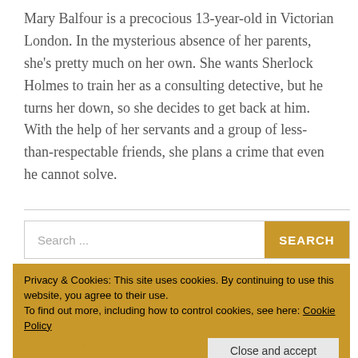Mary Balfour is a precocious 13-year-old in Victorian London. In the mysterious absence of her parents, she's pretty much on her own. She wants Sherlock Holmes to train her as a consulting detective, but he turns her down, so she decides to get back at him. With the help of her servants and a group of less-than-respectable friends, she plans a crime that even he cannot solve.
Search ...
Privacy & Cookies: This site uses cookies. By continuing to use this website, you agree to their use.
To find out more, including how to control cookies, see here: Cookie Policy
Close and accept
A Mingled Yarn